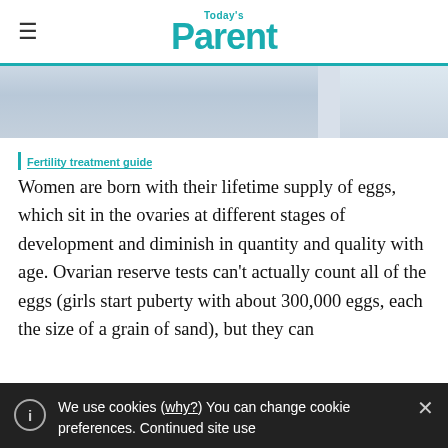Today's Parent
[Figure (photo): Close-up photo of a pregnant woman's belly in a patterned top, lying down with light background]
Fertility treatment guide
Women are born with their lifetime supply of eggs, which sit in the ovaries at different stages of development and diminish in quantity and quality with age. Ovarian reserve tests can't actually count all of the eggs (girls start puberty with about 300,000 eggs, each the size of a grain of sand), but they can
We use cookies (why?) You can change cookie preferences. Continued site use